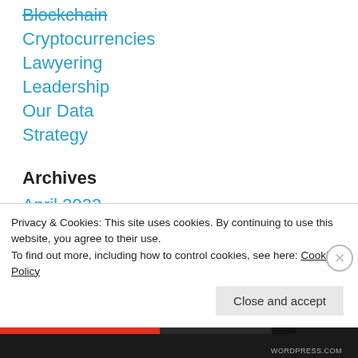Blockchain
Cryptocurrencies
Lawyering
Leadership
Our Data
Strategy
Archives
April 2022
May 2021
Privacy & Cookies: This site uses cookies. By continuing to use this website, you agree to their use.
To find out more, including how to control cookies, see here: Cookie Policy
Close and accept